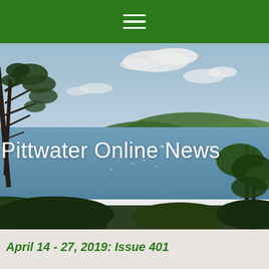Navigation bar with hamburger menu icon
[Figure (photo): Scenic coastal landscape photo showing Pittwater, NSW, Australia. View from a hill through eucalyptus trees overlooking a wide blue bay with sailboats, forested headlands, and a partly cloudy sky. White text overlay reads 'Pittwater Online News'.]
Pittwater Online News
April 14 - 27, 2019: Issue 401